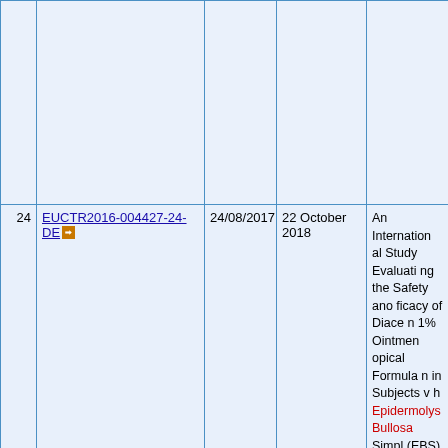| # | Trial ID | Date | Date2 | Description |
| --- | --- | --- | --- | --- |
|  |  |  |  |  |
| 24 | EUCTR2016-004427-24-DE | 24/08/2017 | 22 October 2018 | An International Study Evaluating the Safety and Efficacy of Diacerein 1% Ointment Topical Formulation in Subjects with Epidermolysis Bullosa Simplex (EBS) |